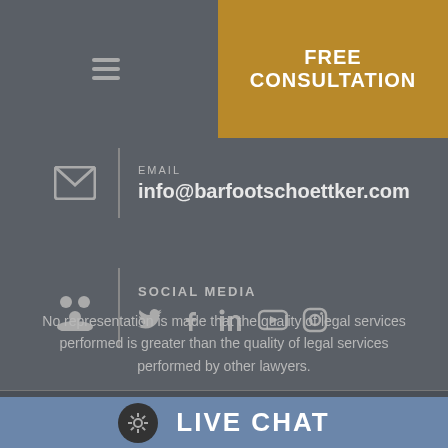FREE CONSULTATION
info@barfootschoettker.com
SOCIAL MEDIA
No representation is made that the quality of legal services performed is greater than the quality of legal services performed by other lawyers.
LIVE CHAT